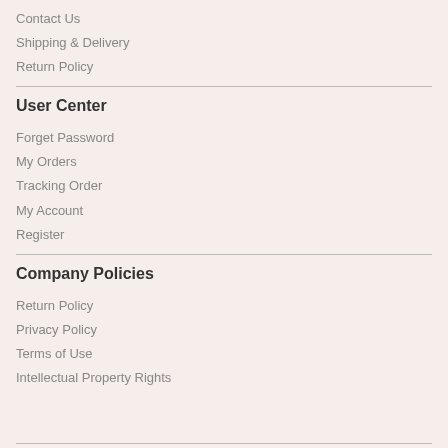Contact Us
Shipping & Delivery
Return Policy
User Center
Forget Password
My Orders
Tracking Order
My Account
Register
Company Policies
Return Policy
Privacy Policy
Terms of Use
Intellectual Property Rights